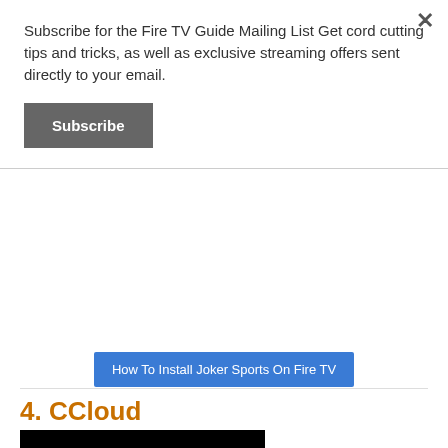Subscribe for the Fire TV Guide Mailing List Get cord cutting tips and tricks, as well as exclusive streaming offers sent directly to your email.
Subscribe
How To Install Joker Sports On Fire TV
4. CCloud
[Figure (logo): CCloud logo - white cloud outline with figure inside on black background, with 'cCloud' text below]